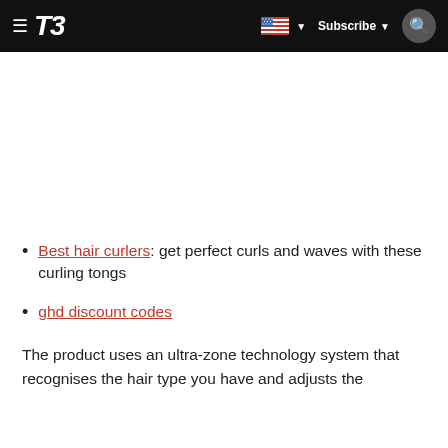T3 — Subscribe
Best hair curlers: get perfect curls and waves with these curling tongs
ghd discount codes
The product uses an ultra-zone technology system that recognises the hair type you have and adjusts the